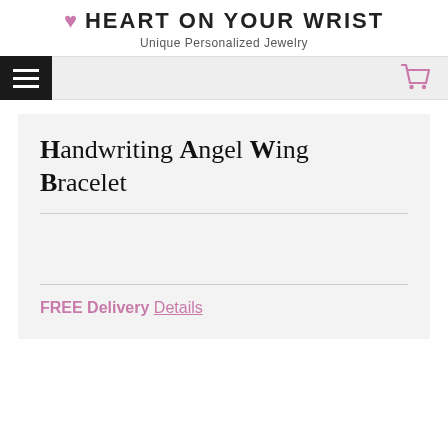HEART ON YOUR WRIST — Unique Personalized Jewelry
Handwriting Angel Wing Bracelet
FREE Delivery Details